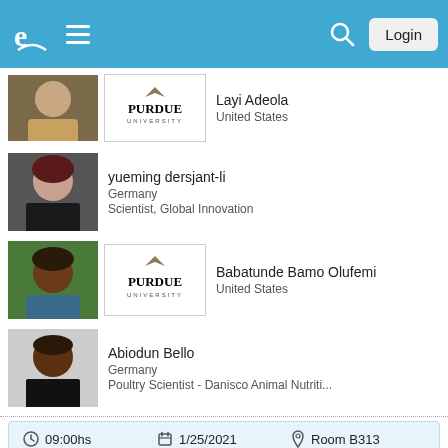Navigation bar with logo, menu, search, and Login button
Layi Adeola
United States
yueming dersjant-li
Germany
Scientist, Global Innovation
Babatunde Bamo Olufemi
United States
Abiodun Bello
Germany
Poultry Scientist - Danisco Animal Nutriti...
09:00hs   1/25/2021   Room B313
Shift in microbial composition of dust during growout of broiler chickens
Speaker:
Amrit Pal, Ally Jackson, Andrea